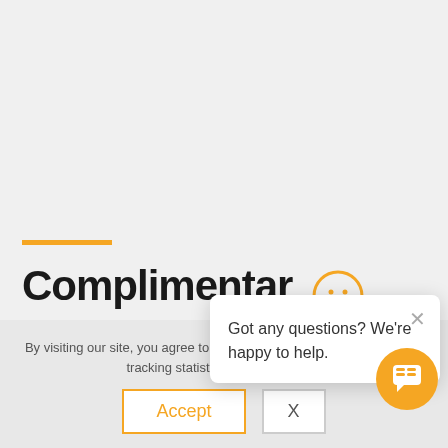Complimentar...
Got any questions? We're happy to help.
By visiting our site, you agree to our privacy policy regarding cookies, tracking statistics, etc. Read more
[Figure (screenshot): Website screenshot showing a cookie consent banner and a chat popup widget with smiley face icon saying 'Got any questions? We're happy to help.' and Accept/X buttons]